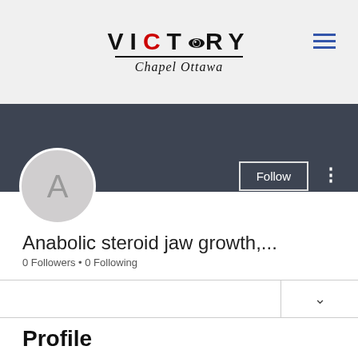VICTORY Chapel Ottawa
[Figure (screenshot): User profile page screenshot showing a dark banner with Follow button, avatar circle with letter A, username 'Anabolic steroid jaw growth,...', 0 Followers, 0 Following, and a Profile section header]
Anabolic steroid jaw growth,...
0 Followers • 0 Following
Profile